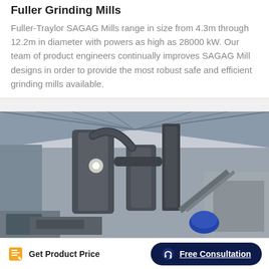Fuller Grinding Mills
Fuller-Traylor SAGAG Mills range in size from 4.3m through 12.2m in diameter with powers as high as 28000 kW. Our team of product engineers continually improves SAGAG Mill designs in order to provide the most robust safe and efficient grinding mills available.
[Figure (photo): Interior of an industrial facility showing large grinding mill machinery with cylindrical vessels, pipes, and conveyor equipment under a steel roof structure.]